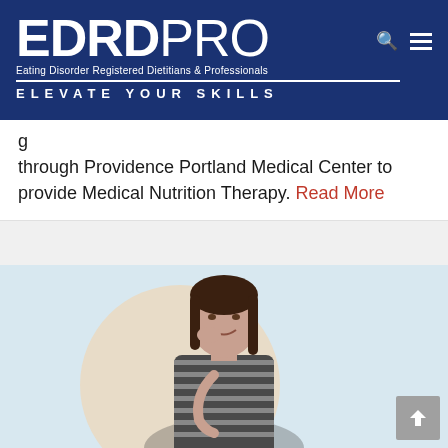[Figure (logo): EDRD PRO logo — Eating Disorder Registered Dietitians & Professionals — ELEVATE YOUR SKILLS header banner on dark navy background]
through Providence Portland Medical Center to provide Medical Nutrition Therapy. Read More
[Figure (photo): Professional headshot of a woman with dark hair, hand on chin, wearing a striped sleeveless top, on a light blue background with a cream circle]